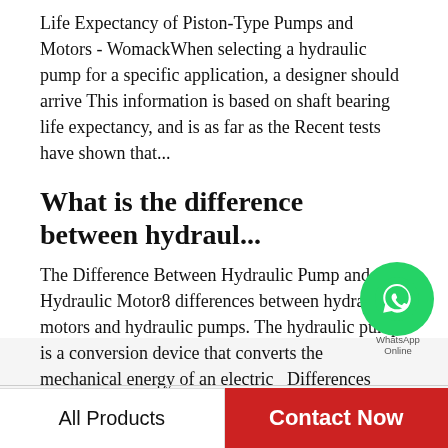Life Expectancy of Piston-Type Pumps and Motors - WomackWhen selecting a hydraulic pump for a specific application, a designer should arrive This information is based on shaft bearing life expectancy, and is as far as the Recent tests have shown that...
What is the difference between hydraul...
The Difference Between Hydraulic Pump and Hydraulic Motor8 differences between hydraulic motors and hydraulic pumps. The hydraulic pump is a conversion device that converts the mechanical energy of an electric  Differences Between Hydraulic...
[Figure (other): WhatsApp chat bubble icon with green circle and phone handset, labeled WhatsApp Online]
Recommended Products
[Figure (photo): Product image placeholder left]
[Figure (photo): Product image placeholder right with gray component visible]
All Products
Contact Now